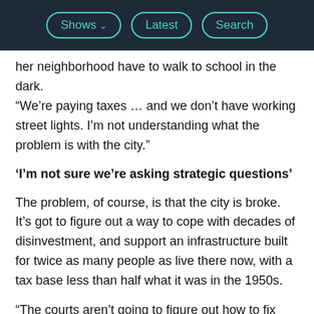Shows | Latest | Search
her neighborhood have to walk to school in the dark. “We’re paying taxes … and we don’t have working street lights. I’m not understanding what the problem is with the city.”
‘I’m not sure we’re asking strategic questions’
The problem, of course, is that the city is broke. It’s got to figure out a way to cope with decades of disinvestment, and support an infrastructure built for twice as many people as live there now, with a tax base less than half what it was in the 1950s.
“The courts aren’t going to figure out how to fix that for us,” said Eric Scorsone, a municipal finance expert at Michigan